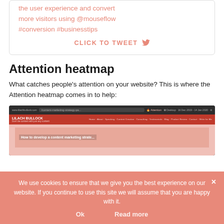the user experience and convert more visitors using @mouseflow #conversion #businesstips
CLICK TO TWEET
Attention heatmap
What catches people’s attention on your website? This is where the Attention heatmap comes in to help:
[Figure (screenshot): Screenshot of Mouseflow Attention heatmap tool showing a website (lilachbullock.com) with an Attention overlay and Desktop mode selected, date range 16 Dec 2019 - 14 Jan 2020]
We use cookies to ensure that we give you the best experience on our website. If you continue to use this site we will assume that you are happy with it.
Ok
Read more